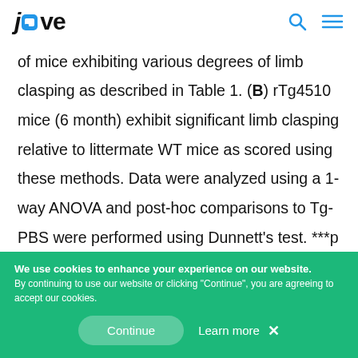jove
of mice exhibiting various degrees of limb clasping as described in Table 1. (B) rTg4510 mice (6 month) exhibit significant limb clasping relative to littermate WT mice as scored using these methods. Data were analyzed using a 1-way ANOVA and post-hoc comparisons to Tg-PBS were performed using Dunnett's test. ***p <0.001, ****p <0.0001. Error bars
We use cookies to enhance your experience on our website. By continuing to use our website or clicking "Continue", you are agreeing to accept our cookies.